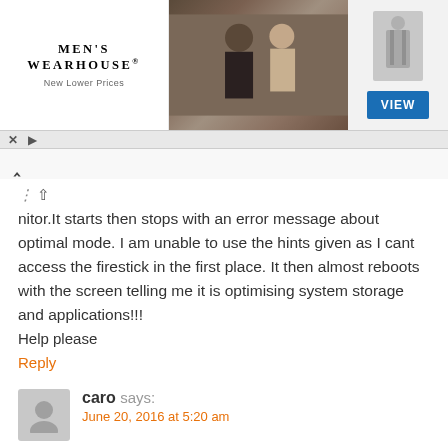[Figure (photo): Men's Wearhouse advertisement banner with logo, couple in formal wear, man in gray suit, and blue VIEW button]
nitor.It starts then stops with an error message about optimal mode. I am unable to use the hints given as I cant access the firestick in the first place. It then almost reboots with the screen telling me it is optimising system storage and applications!!!
Help please
Reply
caro says:
June 20, 2016 at 5:20 am
hey, i have an old samsung flatscreen tv (640×480) without hdmi. i bought an vga adapter recommanded. my chromecast will only show an issuelable, the firestick showed 3 times a starting picture, then blacked out. one time it worked, but when trying to attach the sound i unfortunatly moved the cable too much and it